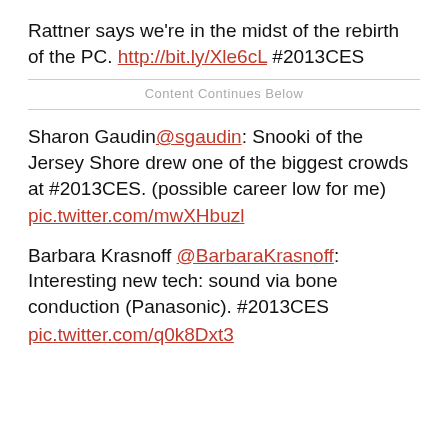Rattner says we're in the midst of the rebirth of the PC. http://bit.ly/Xle6cL #2013CES
Content Continues Below
Sharon Gaudin @sgaudin: Snooki of the Jersey Shore drew one of the biggest crowds at #2013CES. (possible career low for me) pic.twitter.com/mwXHbuzl
Barbara Krasnoff @BarbaraKrasnoff: Interesting new tech: sound via bone conduction (Panasonic). #2013CES pic.twitter.com/q0k8Dxt3